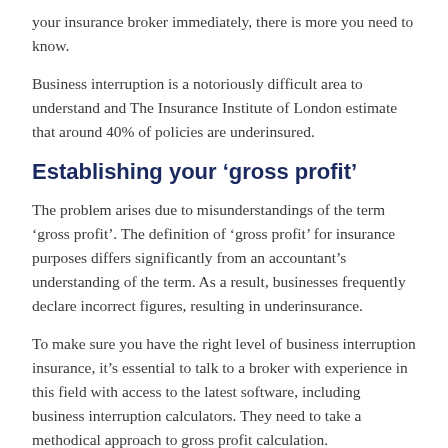your insurance broker immediately, there is more you need to know.
Business interruption is a notoriously difficult area to understand and The Insurance Institute of London estimate that around 40% of policies are underinsured.
Establishing your ‘gross profit’
The problem arises due to misunderstandings of the term ‘gross profit’.  The definition of ‘gross profit’ for insurance purposes differs significantly from an accountant’s understanding of the term.  As a result, businesses frequently declare incorrect figures, resulting in underinsurance.
To make sure you have the right level of business interruption insurance, it’s essential to talk to a broker with experience in this field with access to the latest software, including business interruption calculators.  They need to take a methodical approach to gross profit calculation.
Hopefully, you’ll never need to claim on your business interruption insurance, but if